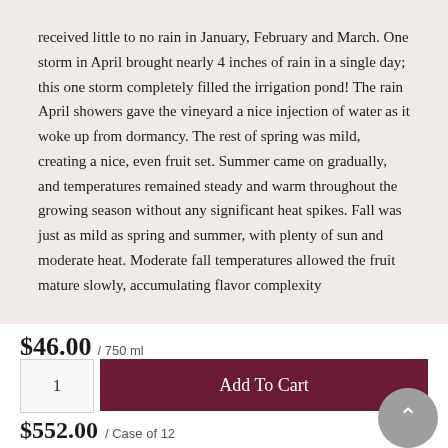received little to no rain in January, February and March. One storm in April brought nearly 4 inches of rain in a single day; this one storm completely filled the irrigation pond! The rain April showers gave the vineyard a nice injection of water as it woke up from dormancy. The rest of spring was mild, creating a nice, even fruit set. Summer came on gradually, and temperatures remained steady and warm throughout the growing season without any significant heat spikes. Fall was just as mild as spring and summer, with plenty of sun and moderate heat. Moderate fall temperatures allowed the fruit mature slowly, accumulating flavor complexity
$46.00 / 750 ml
without rapid increases in sugar levels. Harvest began in mid-September, right on time.
PRODUCTION NOTES:
$552.00 / Case of 12
Harvest started on September 14, 2018 with the pick of the Pommard clone Pinot Noir, which ripened at a slightly faster than the rest of the vineyard. A week later on September 21, 22nd we harvest the rest of the vineyard. Total yield was 23...